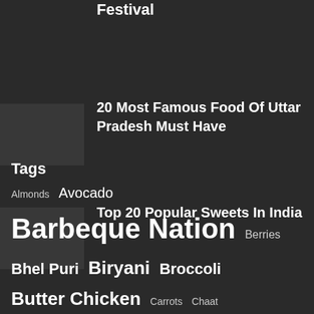Festival
20 Most Famous Food Of Uttar Pradesh Must Have
Top 20 Popular Sweets In India
Tags
Almonds  Avocado  Barbeque Nation  Berries  Bhel Puri  Biryani  Broccoli  Butter Chicken  Carrots  Chaat